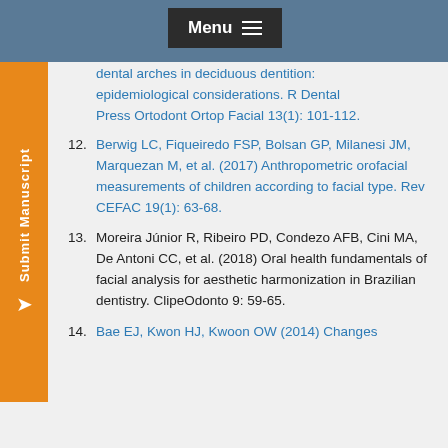Correlation between facial sagittal relationship between dental arches in deciduous dentition: epidemiological considerations. R Dental Press Ortodont Ortop Facial 13(1): 101-112.
12. Berwig LC, Fiqueiredo FSP, Bolsan GP, Milanesi JM, Marquezan M, et al. (2017) Anthropometric orofacial measurements of children according to facial type. Rev CEFAC 19(1): 63-68.
13. Moreira Júnior R, Ribeiro PD, Condezo AFB, Cini MA, De Antoni CC, et al. (2018) Oral health fundamentals of facial analysis for aesthetic harmonization in Brazilian dentistry. ClipeOdonto 9: 59-65.
14. Bae EJ, Kwon HJ, Kwoon OW (2014) Changes